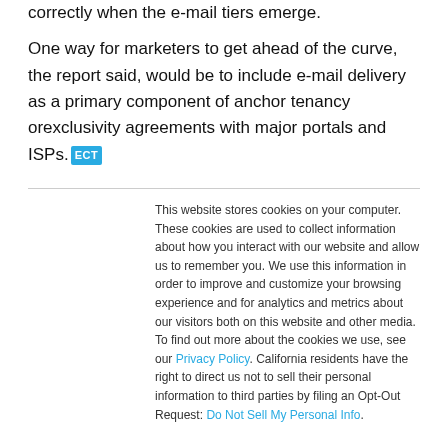correctly when the e-mail tiers emerge.
One way for marketers to get ahead of the curve, the report said, would be to include e-mail delivery as a primary component of anchor tenancy orexclusivity agreements with major portals and ISPs. [ECT]
This website stores cookies on your computer. These cookies are used to collect information about how you interact with our website and allow us to remember you. We use this information in order to improve and customize your browsing experience and for analytics and metrics about our visitors both on this website and other media. To find out more about the cookies we use, see our Privacy Policy. California residents have the right to direct us not to sell their personal information to third parties by filing an Opt-Out Request: Do Not Sell My Personal Info.
Accept